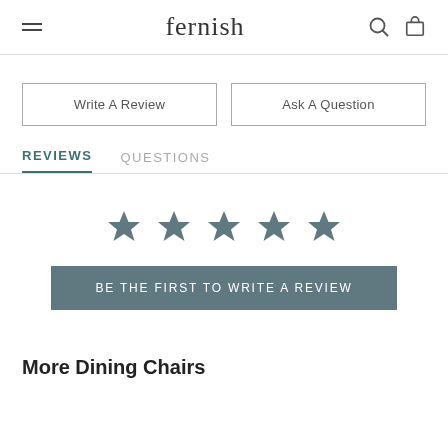fernish
Write A Review
Ask A Question
REVIEWS   QUESTIONS
[Figure (other): Five teal/slate filled star icons representing a 5-star rating display]
BE THE FIRST TO WRITE A REVIEW
More Dining Chairs